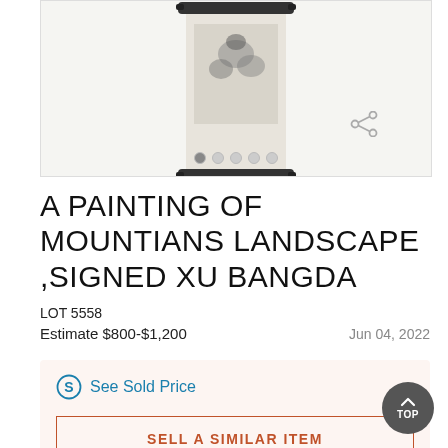[Figure (photo): Chinese scroll painting of mountain landscape displayed hanging, shown in a carousel image viewer with navigation dots and a share icon]
A PAINTING OF MOUNTIANS LANDSCAPE ,SIGNED XU BANGDA
LOT 5558
Estimate $800-$1,200    Jun 04, 2022
See Sold Price
SELL A SIMILAR ITEM